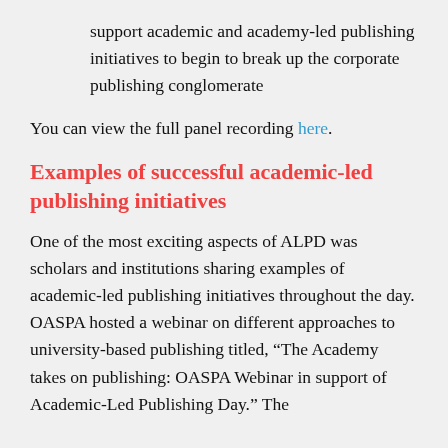support academic and academy-led publishing initiatives to begin to break up the corporate publishing conglomerate
You can view the full panel recording here.
Examples of successful academic-led publishing initiatives
One of the most exciting aspects of ALPD was scholars and institutions sharing examples of academic-led publishing initiatives throughout the day. OASPA hosted a webinar on different approaches to university-based publishing titled, “The Academy takes on publishing: OASPA Webinar in support of Academic-Led Publishing Day.” The